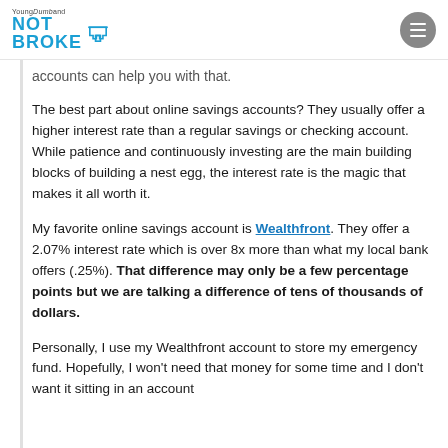Young Dumb and NOT BROKE
accounts can help you with that.
The best part about online savings accounts? They usually offer a higher interest rate than a regular savings or checking account. While patience and continuously investing are the main building blocks of building a nest egg, the interest rate is the magic that makes it all worth it.
My favorite online savings account is Wealthfront. They offer a 2.07% interest rate which is over 8x more than what my local bank offers (.25%). That difference may only be a few percentage points but we are talking a difference of tens of thousands of dollars.
Personally, I use my Wealthfront account to store my emergency fund. Hopefully, I won't need that money for some time and I don't want it sitting in an account